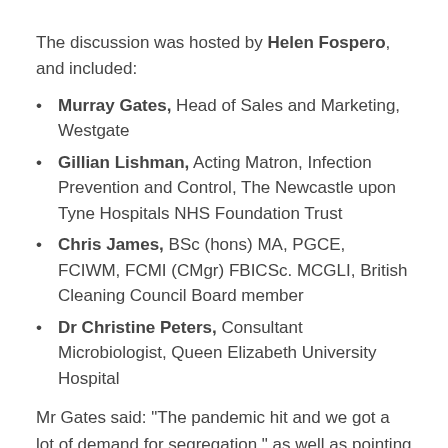The discussion was hosted by Helen Fospero, and included:
Murray Gates, Head of Sales and Marketing, Westgate
Gillian Lishman, Acting Matron, Infection Prevention and Control, The Newcastle upon Tyne Hospitals NHS Foundation Trust
Chris James, BSc (hons) MA, PGCE, FCIWM, FCMI (CMgr) FBICSc. MCGLI, British Cleaning Council Board member
Dr Christine Peters, Consultant Microbiologist, Queen Elizabeth University Hospital
Mr Gates said: “The pandemic hit and we got a lot of demand for segregation,” as well as pointing out the challenges this brought on, when turning six bed wards into six individual spaces.